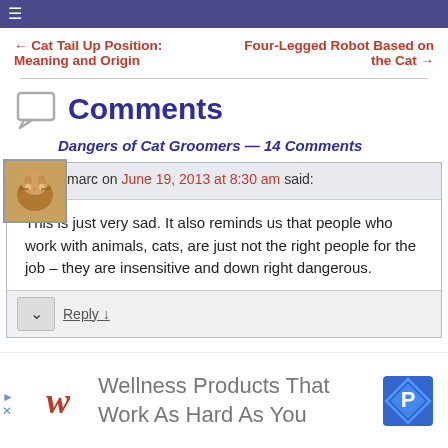☰
← Cat Tail Up Position: Meaning and Origin
Four-Legged Robot Based on the Cat →
Comments
Dangers of Cat Groomers — 14 Comments
marc on June 19, 2013 at 8:30 am said:
This is just very sad. It also reminds us that people who work with animals, cats, are just not the right people for the job – they are insensitive and down right dangerous.
Reply ↓
[Figure (infographic): Walgreens advertisement: Wellness Products That Work As Hard As You]